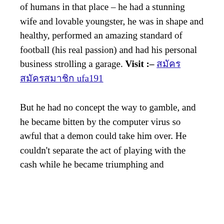of humans in that place – he had a stunning wife and lovable youngster, he was in shape and healthy, performed an amazing standard of football (his real passion) and had his personal business strolling a garage. Visit :– [link][link]
But he had no concept the way to gamble, and he became bitten by the computer virus so awful that a demon could take him over. He couldn't separate the act of playing with the cash while he became triumphing and